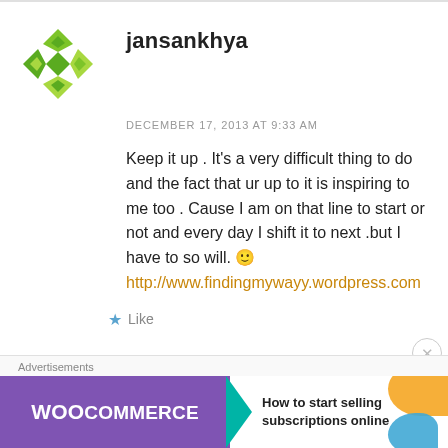[Figure (logo): Green diamond/star pattern avatar icon for user jansankhya]
jansankhya
DECEMBER 17, 2013 AT 9:33 AM
Keep it up . It’s a very difficult thing to do and the fact that ur up to it is inspiring to me too . Cause I am on that line to start or not and every day I shift it to next .but I have to so will. 🙂 http://www.findingmywayy.wordpress.com
★ Like
Advertisements
[Figure (screenshot): WooCommerce advertisement banner: purple background with WooCommerce logo and arrow, text reading 'How to start selling subscriptions online' with orange and blue decorative blobs]